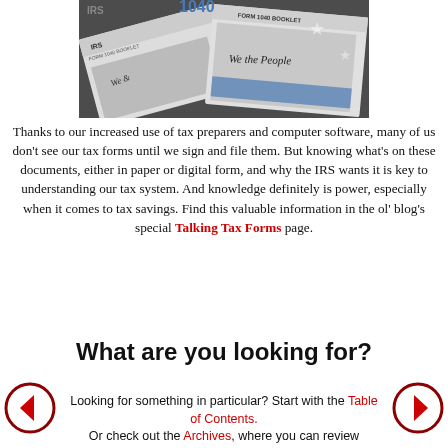[Figure (photo): Photo of IRS Form 1040 booklets with 'We the People' text visible, overlaid on an American flag background, shown in black and white]
Thanks to our increased use of tax preparers and computer software, many of us don't see our tax forms until we sign and file them. But knowing what's on these documents, either in paper or digital form, and why the IRS wants it is key to understanding our tax system. And knowledge definitely is power, especially when it comes to tax savings. Find this valuable information in the ol' blog's special Talking Tax Forms page.
What are you looking for?
Looking for something in particular? Start with the Table of Contents. Or check out the Archives, where you can review